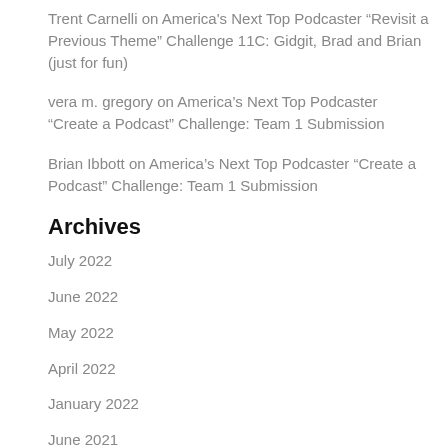Trent Carnelli on America's Next Top Podcaster “Revisit a Previous Theme” Challenge 11C: Gidgit, Brad and Brian (just for fun)
vera m. gregory on America’s Next Top Podcaster “Create a Podcast” Challenge: Team 1 Submission
Brian Ibbott on America’s Next Top Podcaster “Create a Podcast” Challenge: Team 1 Submission
Archives
July 2022
June 2022
May 2022
April 2022
January 2022
June 2021
May 2021